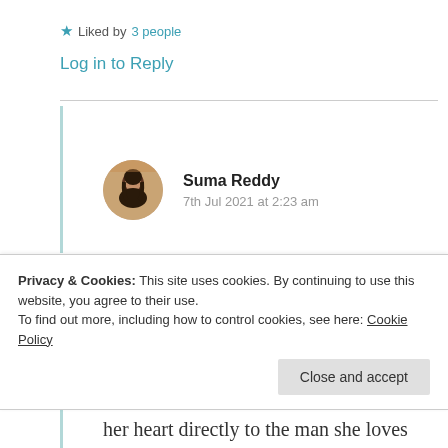★ Liked by 3 people
Log in to Reply
Suma Reddy
7th Jul 2021 at 2:23 am
[Figure (photo): Circular avatar photo of Suma Reddy]
I loved the version of your clever thoughts, you put them in a very
Privacy & Cookies: This site uses cookies. By continuing to use this website, you agree to their use.
To find out more, including how to control cookies, see here: Cookie Policy
Close and accept
her heart directly to the man she loves